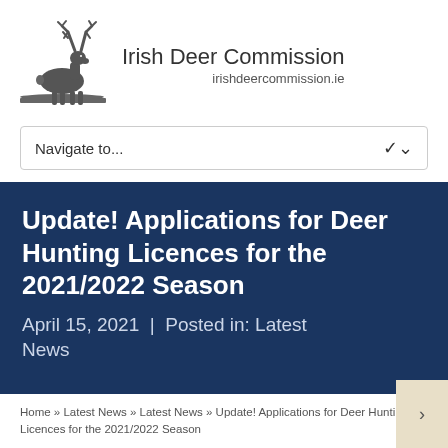Irish Deer Commission
irishdeercommission.ie
[Figure (logo): Silhouette of a stag deer standing on grass, logo for Irish Deer Commission]
Navigate to...
Update! Applications for Deer Hunting Licences for the 2021/2022 Season
April 15, 2021  |  Posted in: Latest News
Home » Latest News » Latest News » Update! Applications for Deer Hunting Licences for the 2021/2022 Season